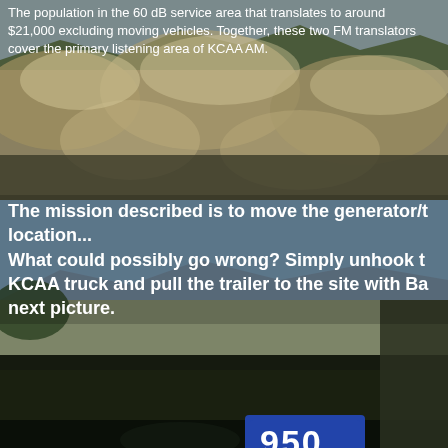[Figure (photo): Hillside covered in dry golden grasses/brush against a blue-grey sky, outdoor landscape photo]
The population in the 60 dB service area that translates to around $21,000 excluding moving vehicles. Together, these two FM translators cover the primary listening area of KCAA AM.
The mission described is to move the generator/t location... What could possibly go wrong? Simply unhook t KCAA truck and pull the trailer to the site with Ba next picture.
[Figure (photo): View from inside a vehicle looking out over a city valley from a hilltop, with a blue sky and mountains in the background. A truck dashboard/windshield frame is visible, and a license plate partial reading '950' is visible.]